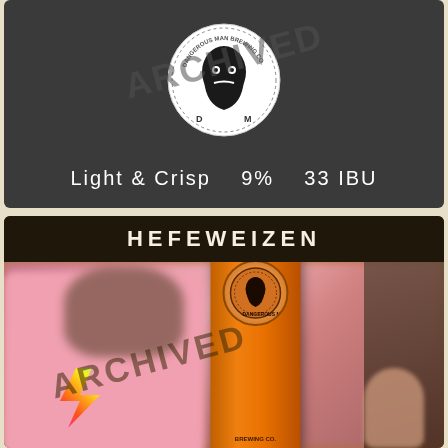[Figure (photo): Top card showing Dangerous Man Brewing Co logo (circular white badge with bearded man face) on dark gray background with 'ARCHIVED' watermark text overlaid diagonally]
Light & Crisp   9%   33 IBU
HEFEWEIZEN
[Figure (photo): Bottom card showing photo of person in pink shirt holding an orange Dangerous Man Brewing tap handle/beer glass, with a dog visible in background, and 'ARCHIVED' watermark overlaid diagonally. Rainbow lightning bolt visible on shirt.]